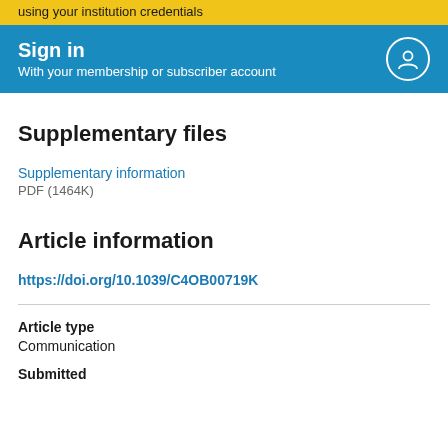using your institution credentials
[Figure (other): Blue sign-in banner with text 'Sign in / With your membership or subscriber account' and a circular user icon on the right]
Supplementary files
Supplementary information
PDF (1464K)
Article information
https://doi.org/10.1039/C4OB00719K
Article type
Communication
Submitted